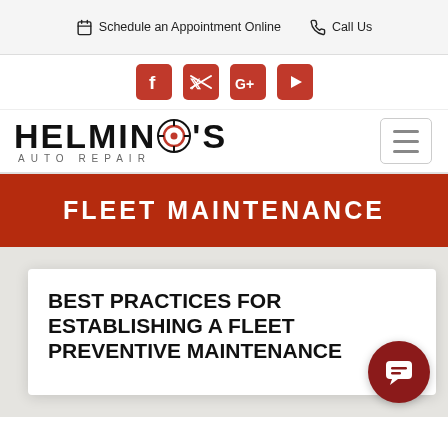Schedule an Appointment Online   Call Us
[Figure (screenshot): Social media icons: Facebook, Twitter, Google+, YouTube — all in red/crimson square rounded buttons]
[Figure (logo): Helming's Auto Repair logo with hamburger menu button]
FLEET MAINTENANCE
BEST PRACTICES FOR ESTABLISHING A FLEET PREVENTIVE MAINTENANCE